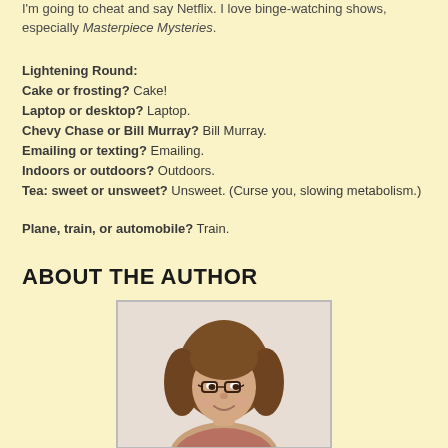I'm going to cheat and say Netflix. I love binge-watching shows, especially Masterpiece Mysteries.
Lightening Round:
Cake or frosting? Cake!
Laptop or desktop? Laptop.
Chevy Chase or Bill Murray? Bill Murray.
Emailing or texting? Emailing.
Indoors or outdoors? Outdoors.
Tea: sweet or unsweet? Unsweet. (Curse you, slowing metabolism.)
Plane, train, or automobile? Train.
ABOUT THE AUTHOR
[Figure (photo): Author photo: a woman with curly brown hair and glasses, smiling]